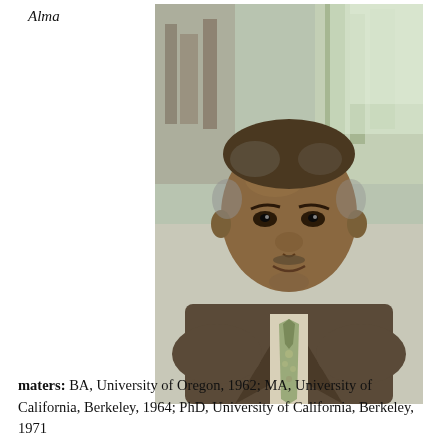Alma
[Figure (photo): Portrait photograph of an older African American man in a brown suit jacket with a patterned tie, smiling, with bookshelves in the background.]
maters: BA, University of Oregon, 1962; MA, University of California, Berkeley, 1964; PhD, University of California, Berkeley, 1971